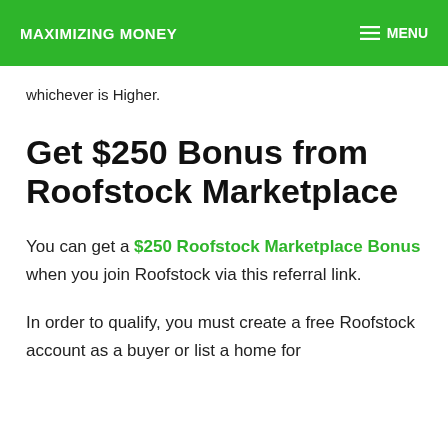MAXIMIZING MONEY   MENU
whichever is Higher.
Get $250 Bonus from Roofstock Marketplace
You can get a $250 Roofstock Marketplace Bonus when you join Roofstock via this referral link.
In order to qualify, you must create a free Roofstock account as a buyer or list a home for